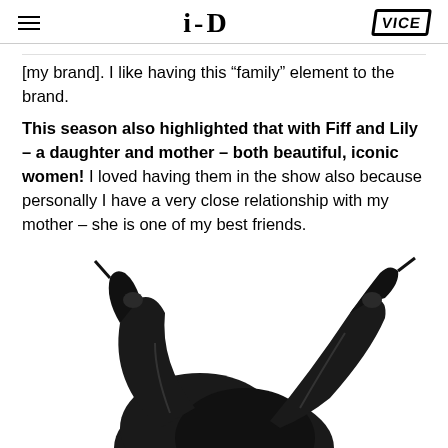i-D  VICE
[my brand]. I like having this “family” element to the brand.
This season also highlighted that with Fiff and Lily – a daughter and mother – both beautiful, iconic women! I loved having them in the show also because personally I have a very close relationship with my mother – she is one of my best friends.
[Figure (photo): A person wearing black leather clothing and high heeled shoes, photographed from below against a white background, legs raised in the air.]